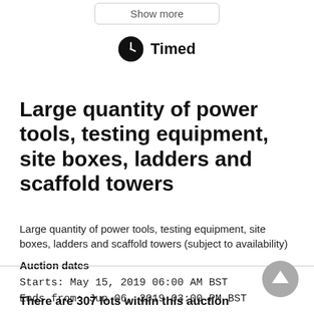[Figure (other): Show more button (rounded rectangle UI button)]
Timed
Large quantity of power tools, testing equipment, site boxes, ladders and scaffold towers
Large quantity of power tools, testing equipment, site boxes, ladders and scaffold towers (subject to availability)
Auction dates
Starts: May 15, 2019 06:00 AM BST
Ends from: Jun 06, 2019 03:00 PM BST
There are 307 lots within this auction